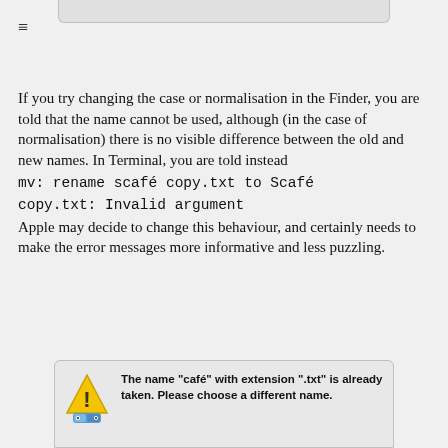[Figure (screenshot): Top portion of a macOS dialog window, partially cropped, showing grey title bar area]
[Figure (other): Hamburger menu icon (three horizontal lines)]
If you try changing the case or normalisation in the Finder, you are told that the name cannot be used, although (in the case of normalisation) there is no visible difference between the old and new names. In Terminal, you are told instead
mv: rename scafé copy.txt to Scafé copy.txt: Invalid argument
Apple may decide to change this behaviour, and certainly needs to make the error messages more informative and less puzzling.
[Figure (screenshot): Bottom portion of a macOS Finder error dialog showing warning icon and text: The name "café" with extension ".txt" is already taken. Please choose a different name.]